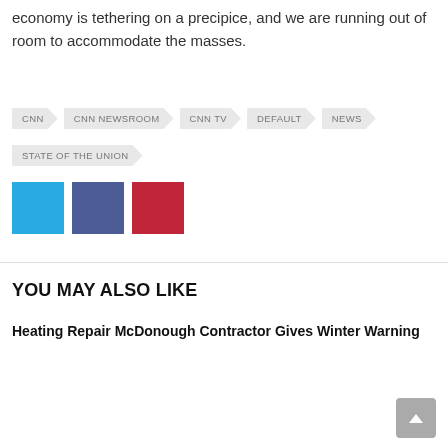economy is tethering on a precipice, and we are running out of room to accommodate the masses.
CNN
CNN NEWSROOM
CNN TV
DEFAULT
NEWS
STATE OF THE UNION
[Figure (other): Three social share buttons: Twitter (blue), Facebook (dark blue/purple), Pinterest (red)]
YOU MAY ALSO LIKE
Heating Repair McDonough Contractor Gives Winter Warning